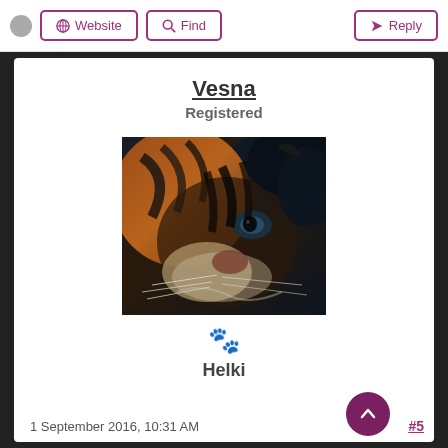Website  Find  Reply
Vesna
Registered
[Figure (photo): Close-up photo of a tiger face with dark tones, orange and black stripes, displayed as user avatar]
🐾
Helki
1 September 2016, 10:31 AM
#5